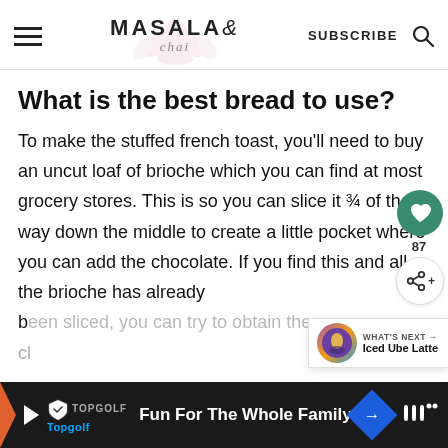MASALA & chai — SUBSCRIBE
What is the best bread to use?
To make the stuffed french toast, you'll need to buy an uncut loaf of brioche which you can find at most grocery stores. This is so you can slice it ¾ of the way down the middle to create a little pocket where you can add the chocolate. If you find this and all the brioche has already been sliced, you can try to brioche the closest...
[Figure (other): Advertisement banner for Topgolf: Fun For The Whole Family]
[Figure (other): What's Next widget showing Iced Ube Latte]